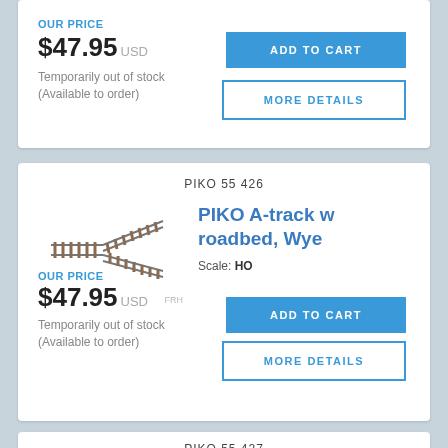OUR PRICE
$47.95 USD
Temporarily out of stock
(Available to order)
ADD TO CART
MORE DETAILS
PIKO 55426
[Figure (photo): Model railroad track piece - PIKO A-track with roadbed, Wye switch/turnout, showing Y-shaped track configuration]
PIKO A-track w roadbed, Wye
Scale: HO
OUR PRICE
$47.95 USD
Temporarily out of stock
(Available to order)
ADD TO CART
MORE DETAILS
PIKO 55427